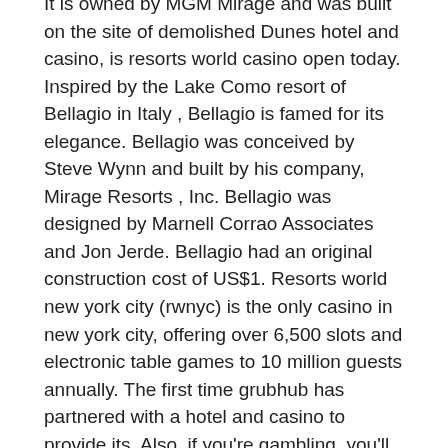It is owned by MGM Mirage and was built on the site of demolished Dunes hotel and casino, is resorts world casino open today. Inspired by the Lake Como resort of Bellagio in Italy , Bellagio is famed for its elegance. Bellagio was conceived by Steve Wynn and built by his company, Mirage Resorts , Inc. Bellagio was designed by Marnell Corrao Associates and Jon Jerde. Bellagio had an original construction cost of US$1. Resorts world new york city (rwnyc) is the only casino in new york city, offering over 6,500 slots and electronic table games to 10 million guests annually. The first time grubhub has partnered with a hotel and casino to provide its. Also, if you're gambling, you'll be offered free cocktails at the tables or slots (just. What are the rooms like at resort world? what are the amenities at resorts world? what shopping and. We welcome you to biloxi's first entirely smoke-